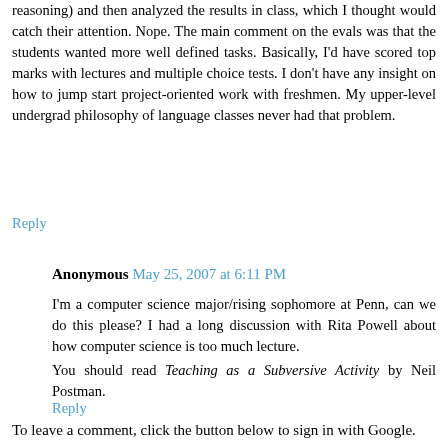reasoning) and then analyzed the results in class, which I thought would catch their attention. Nope. The main comment on the evals was that the students wanted more well defined tasks. Basically, I'd have scored top marks with lectures and multiple choice tests. I don't have any insight on how to jump start project-oriented work with freshmen. My upper-level undergrad philosophy of language classes never had that problem.
Reply
Anonymous May 25, 2007 at 6:11 PM
I'm a computer science major/rising sophomore at Penn, can we do this please? I had a long discussion with Rita Powell about how computer science is too much lecture.
You should read Teaching as a Subversive Activity by Neil Postman.
Reply
To leave a comment, click the button below to sign in with Google.